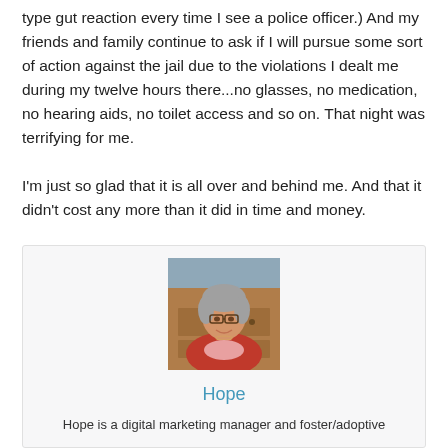type gut reaction every time I see a police officer.) And my friends and family continue to ask if I will pursue some sort of action against the jail due to the violations I dealt me during my twelve hours there...no glasses, no medication, no hearing aids, no toilet access and so on. That night was terrifying for me.

I'm just so glad that it is all over and behind me. And that it didn't cost any more than it did in time and money.
[Figure (photo): Portrait photo of a middle-aged woman with glasses and short gray hair, wearing a red cardigan, smiling. Background shows wooden furniture.]
Hope
Hope is a digital marketing manager and foster/adoptive